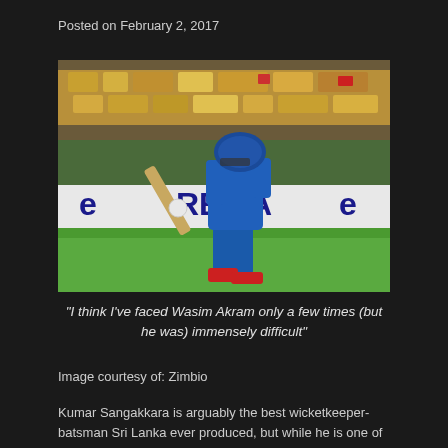Posted on February 2, 2017
[Figure (photo): Sri Lankan cricket batsman Kumar Sangakkara in blue uniform batting during a match, with a 'RELIANCE' advertising board in the background and stadium crowd visible.]
“I think I’ve faced Wasim Akram only a few times (but he was) immensely difficult”
Image courtesy of: Zimbio
Kumar Sangakkara is arguably the best wicketkeeper-batsman Sri Lanka ever produced, but while he is one of